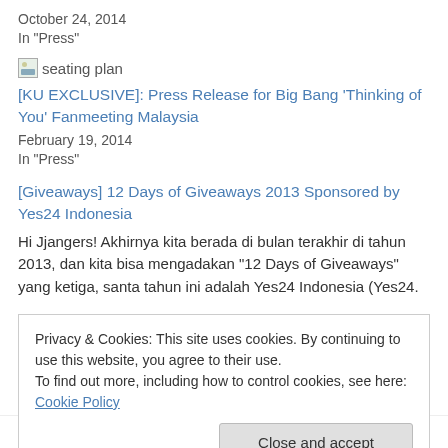October 24, 2014
In "Press"
[Figure (other): Broken image placeholder labeled 'seating plan']
[KU EXCLUSIVE]: Press Release for Big Bang ‘Thinking of You’ Fanmeeting Malaysia
February 19, 2014
In "Press"
[Giveaways] 12 Days of Giveaways 2013 Sponsored by Yes24 Indonesia
Hi Jjangers! Akhirnya kita berada di bulan terakhir di tahun 2013, dan kita bisa mengadakan “12 Days of Giveaways” yang ketiga, santa tahun ini adalah Yes24 Indonesia (Yes24.
Privacy & Cookies: This site uses cookies. By continuing to use this website, you agree to their use.
To find out more, including how to control cookies, see here: Cookie Policy
December 15, 2013
31 Replies